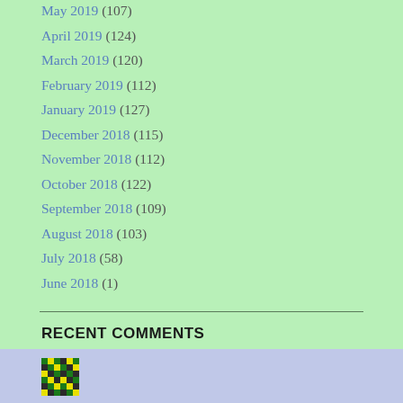May 2019 (107)
April 2019 (124)
March 2019 (120)
February 2019 (112)
January 2019 (127)
December 2018 (115)
November 2018 (112)
October 2018 (122)
September 2018 (109)
August 2018 (103)
July 2018 (58)
June 2018 (1)
RECENT COMMENTS
[Figure (other): Small pixelated avatar/icon image at the bottom left]